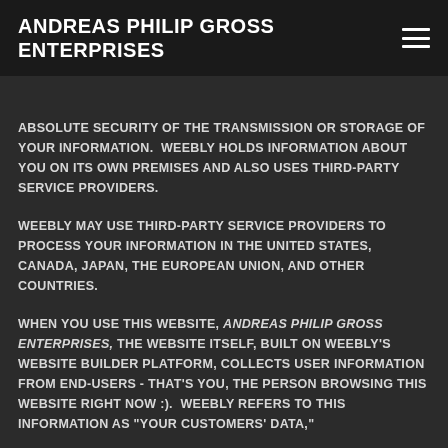ANDREAS PHILIP GROSS ENTERPRISES
ABSOLUTE SECURITY OF THE TRANSMISSION OR STORAGE OF YOUR INFORMATION.  WEEBLY HOLDS INFORMATION ABOUT YOU ON ITS OWN PREMISES AND ALSO USES THIRD-PARTY SERVICE PROVIDERS.
WEEBLY MAY USE THIRD-PARTY SERVICE PROVIDERS TO PROCESS YOUR INFORMATION IN THE UNITED STATES, CANADA, JAPAN, THE EUROPEAN UNION, AND OTHER COUNTRIES.
WHEN YOU USE THIS WEBSITE, ANDREAS PHILIP GROSS ENTERPRISES, THE WEBSITE ITSELF, BUILT ON WEEBLY'S WEBSITE BUILDER PLATFORM, COLLECTS USER INFORMATION FROM END-USERS - THAT'S YOU, THE PERSON BROWSING THIS WEBSITE RIGHT NOW :).  WEEBLY REFERS TO THIS INFORMATION AS "Your Customers' Data,"